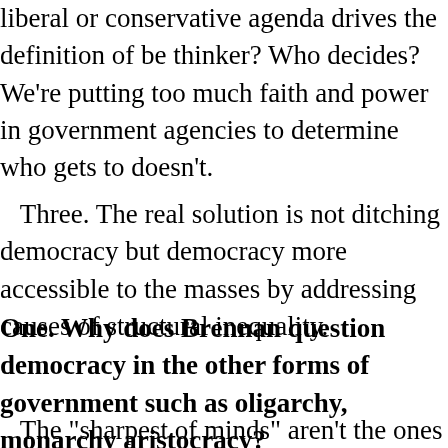liberal or conservative agenda drives the definition of be thinker? Who decides? We're putting too much faith and power in government agencies to determine who gets to doesn't.
Three. The real solution is not ditching democracy but democracy more accessible to the masses by addressing causes of structural inequality.
One. Why does Brennan question democracy in the other forms of government such as oligarchy, monarchy aristocracy?
The "sharpest of minds" aren't the ones who get involved politics. Talked about...